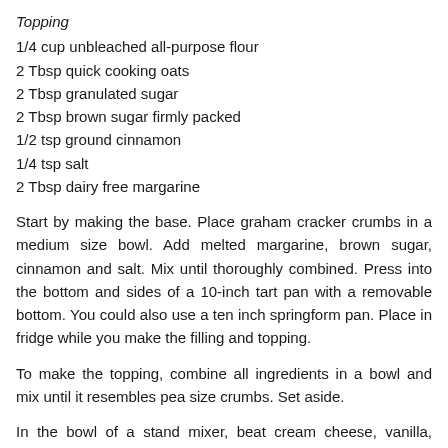Topping
1/4 cup unbleached all-purpose flour
2 Tbsp quick cooking oats
2 Tbsp granulated sugar
2 Tbsp brown sugar firmly packed
1/2 tsp ground cinnamon
1/4 tsp salt
2 Tbsp dairy free margarine
Start by making the base. Place graham cracker crumbs in a medium size bowl. Add melted margarine, brown sugar, cinnamon and salt. Mix until thoroughly combined. Press into the bottom and sides of a 10-inch tart pan with a removable bottom. You could also use a ten inch springform pan. Place in fridge while you make the filling and topping.
To make the topping, combine all ingredients in a bowl and mix until it resembles pea size crumbs. Set aside.
In the bowl of a stand mixer, beat cream cheese, vanilla, sugars and custard powder until light and fluffy. Add sweet potato puree, cinnamon, nutmeg and cloves. Mix on medium speed until filling is